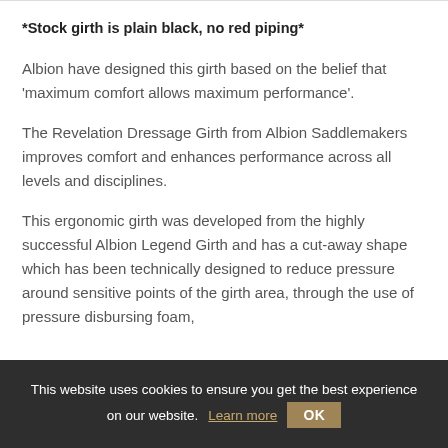*Stock girth is plain black, no red piping*
Albion have designed this girth based on the belief that 'maximum comfort allows maximum performance'.
The Revelation Dressage Girth from Albion Saddlemakers improves comfort and enhances performance across all levels and disciplines.
This ergonomic girth was developed from the highly successful Albion Legend Girth and has a cut-away shape which has been technically designed to reduce pressure around sensitive points of the girth area, through the use of pressure disbursing foam,
This website uses cookies to ensure you get the best experience on our website. Learn more  OK